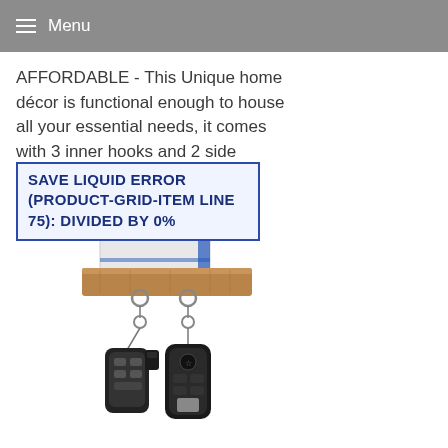Menu
AFFORDABLE - This Unique home décor is functional enough to house all your essential needs, it comes with 3 inner hooks and 2 side hooks to help y...
SAVE LIQUID ERROR (PRODUCT-GRID-ITEM LINE 75): DIVIDED BY 0%
[Figure (photo): A wooden key holder shelf with hanging car key fobs, a Swiss Army knife and envelopes on top, mounted on white background.]